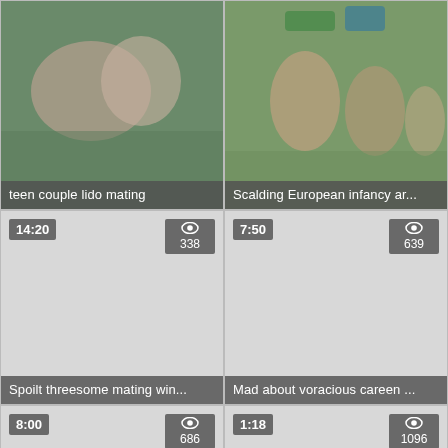[Figure (screenshot): Video thumbnail grid showing 6 video thumbnails in 2 columns. Top row: 'teen couple lido mating' and 'Scalding European infancy ar...'. Second row (14:20/338 views): 'Spoilt threesome mating win...' and (7:50/639 views) 'Mad about voracious careen ...'. Third row (8:00/686 views): 'Tanned whore gets yoke dick...' and (1:18/1096 views) 'Superannuated exploitatory...'. Bottom partial row: 2:40 and 7:06 thumbnails.]